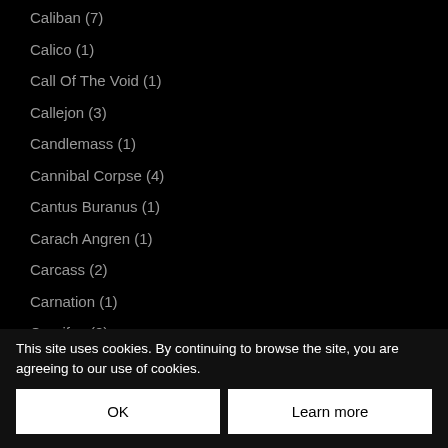Caliban (7)
Calico (1)
Call Of The Void (1)
Callejon (3)
Candlemass (1)
Cannibal Corpse (4)
Cantus Buranus (1)
Carach Angren (1)
Carcass (2)
Carnation (1)
Carnifex (2)
Carpathian Forest (2)
Carpenter Brut (1)
Cattle Decapitation (...)
Cavalera Conspiracy (...)
Celebrate The Bloodshed (1)
This site uses cookies. By continuing to browse the site, you are agreeing to our use of cookies.
OK
Learn more